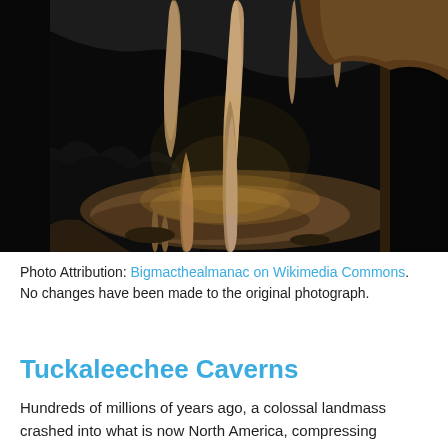[Figure (photo): Interior of Tuckaleechee Caverns showing stalactites and stalagmites illuminated by artificial lighting in a dark cave environment.]
Photo Attribution: Bigmacthealmanac on Wikimedia Commons. No changes have been made to the original photograph.
Tuckaleechee Caverns
Hundreds of millions of years ago, a colossal landmass crashed into what is now North America, compressing